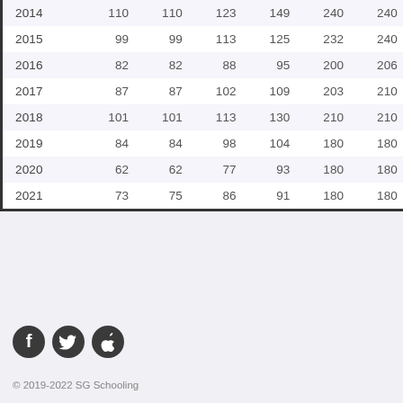| 2014 | 110 | 110 | 123 | 149 | 240 | 240 |
| 2015 | 99 | 99 | 113 | 125 | 232 | 240 |
| 2016 | 82 | 82 | 88 | 95 | 200 | 206 |
| 2017 | 87 | 87 | 102 | 109 | 203 | 210 |
| 2018 | 101 | 101 | 113 | 130 | 210 | 210 |
| 2019 | 84 | 84 | 98 | 104 | 180 | 180 |
| 2020 | 62 | 62 | 77 | 93 | 180 | 180 |
| 2021 | 73 | 75 | 86 | 91 | 180 | 180 |
[Figure (logo): Social media icons: Facebook, Twitter, Apple]
© 2019-2022 SG Schooling